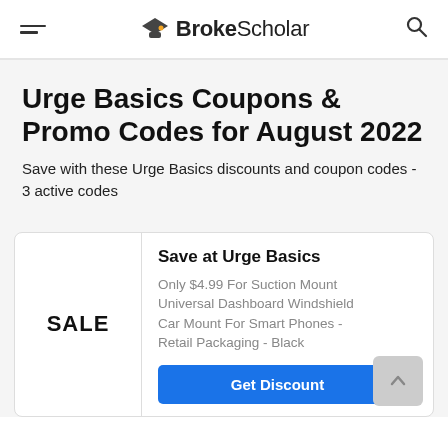BrokeScholar
Urge Basics Coupons & Promo Codes for August 2022
Save with these Urge Basics discounts and coupon codes - 3 active codes
SALE
Save at Urge Basics
Only $4.99 For Suction Mount Universal Dashboard Windshield Car Mount For Smart Phones - Retail Packaging - Black
Get Discount